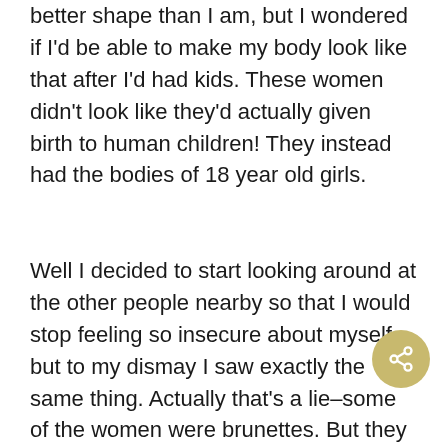better shape than I am, but I wondered if I'd be able to make my body look like that after I'd had kids. These women didn't look like they'd actually given birth to human children! They instead had the bodies of 18 year old girls.
Well I decided to start looking around at the other people nearby so that I would stop feeling so insecure about myself, but to my dismay I saw exactly the same thing. Actually that's a lie–some of the women were brunettes. But they were all skinny, toned, and cute. There were a couple women